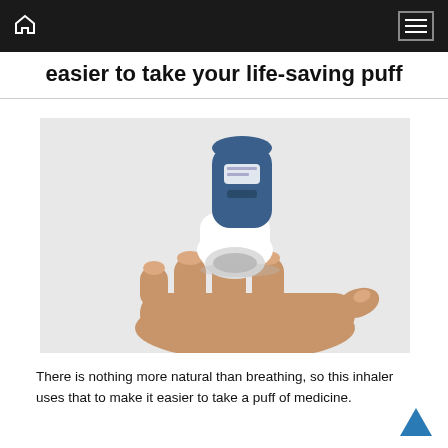Home | Menu
easier to take your life-saving puff
[Figure (photo): A modern smart inhaler (blue and white) floating above an open human palm against a light grey background.]
There is nothing more natural than breathing, so this inhaler uses that to make it easier to take a puff of medicine.